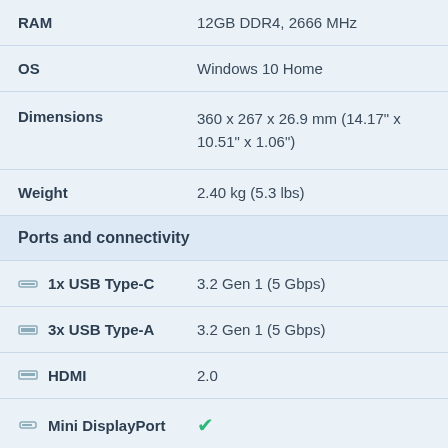| Spec | Value |
| --- | --- |
| RAM | 12GB DDR4, 2666 MHz |
| OS | Windows 10 Home |
| Dimensions | 360 x 267 x 26.9 mm (14.17" x 10.51" x 1.06") |
| Weight | 2.40 kg (5.3 lbs) |
Ports and connectivity
| Port | Spec |
| --- | --- |
| 1x USB Type-C | 3.2 Gen 1 (5 Gbps) |
| 3x USB Type-A | 3.2 Gen 1 (5 Gbps) |
| HDMI | 2.0 |
| Mini DisplayPort | ✓ |